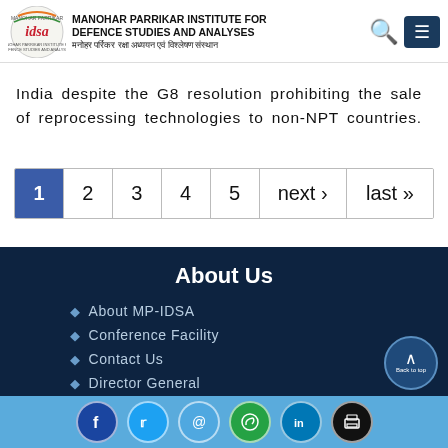MANOHAR PARRIKAR INSTITUTE FOR DEFENCE STUDIES AND ANALYSES
India despite the G8 resolution prohibiting the sale of reprocessing technologies to non-NPT countries.
1 2 3 4 5 next › last »
About Us
About MP-IDSA
Conference Facility
Contact Us
Director General